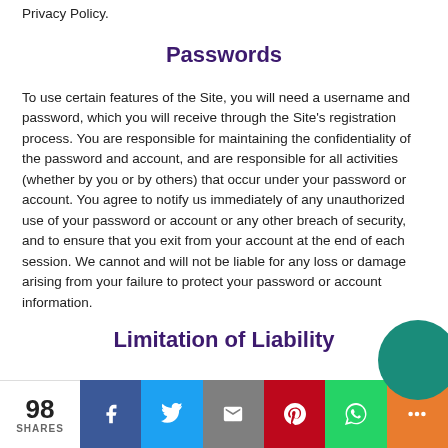Privacy Policy.
Passwords
To use certain features of the Site, you will need a username and password, which you will receive through the Site's registration process. You are responsible for maintaining the confidentiality of the password and account, and are responsible for all activities (whether by you or by others) that occur under your password or account. You agree to notify us immediately of any unauthorized use of your password or account or any other breach of security, and to ensure that you exit from your account at the end of each session. We cannot and will not be liable for any loss or damage arising from your failure to protect your password or account information.
Limitation of Liability
98 SHARES